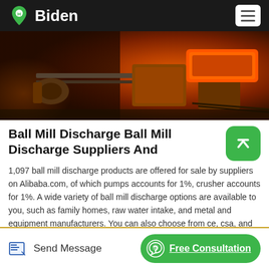Biden
[Figure (photo): Industrial machinery photo showing orange-colored ball mill equipment and heavy industrial parts on a factory floor]
Ball Mill Discharge Ball Mill Discharge Suppliers And
1,097 ball mill discharge products are offered for sale by suppliers on Alibaba.com, of which pumps accounts for 1%, crusher accounts for 1%. A wide variety of ball mill discharge options are available to you, such as family homes, raw water intake, and metal and equipment manufacturers. You can also choose from ce, csa, and rohs ball mill ...
Send Message | Free Consultation